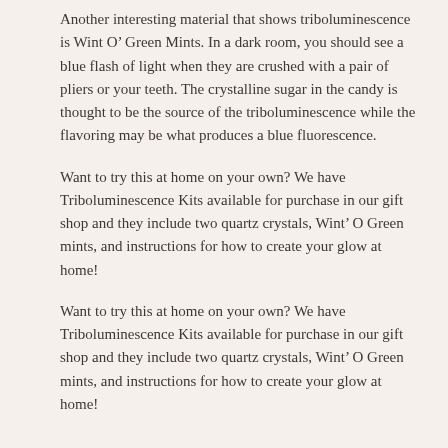Another interesting material that shows triboluminescence is Wint O’ Green Mints. In a dark room, you should see a blue flash of light when they are crushed with a pair of pliers or your teeth. The crystalline sugar in the candy is thought to be the source of the triboluminescence while the flavoring may be what produces a blue fluorescence.
Want to try this at home on your own? We have Triboluminescence Kits available for purchase in our gift shop and they include two quartz crystals, Wint’ O Green mints, and instructions for how to create your glow at home!
Want to try this at home on your own? We have Triboluminescence Kits available for purchase in our gift shop and they include two quartz crystals, Wint’ O Green mints, and instructions for how to create your glow at home!